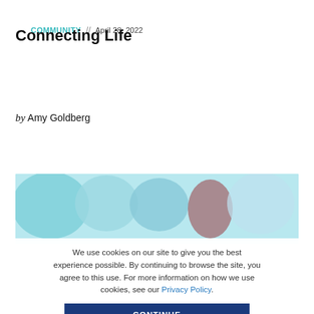COMMUNITY // April 28, 2022
Connecting Life
by Amy Goldberg
[Figure (photo): Blurred/out-of-focus photograph with teal and light blue tones, partially visible at the bottom of the article header area.]
We use cookies on our site to give you the best experience possible. By continuing to browse the site, you agree to this use. For more information on how we use cookies, see our Privacy Policy.
CONTINUE